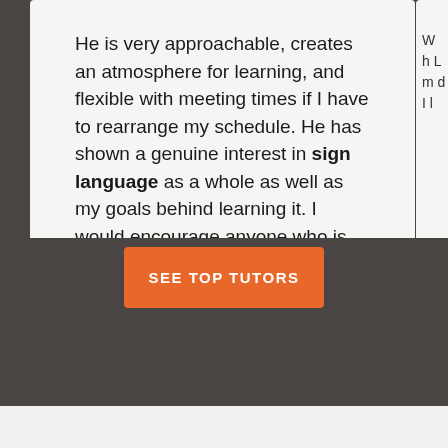He is very approachable, creates an atmosphere for learning, and flexible with meeting times if I have to rearrange my schedule. He has shown a genuine interest in sign language as a whole as well as my goals behind learning it. I would encourage anyone who is interested in learning sign language to just contact Matt for a meet and greet (he and I met at a local Starbucks for our meet/greet) and go from there.
SEE TOP TUTORS